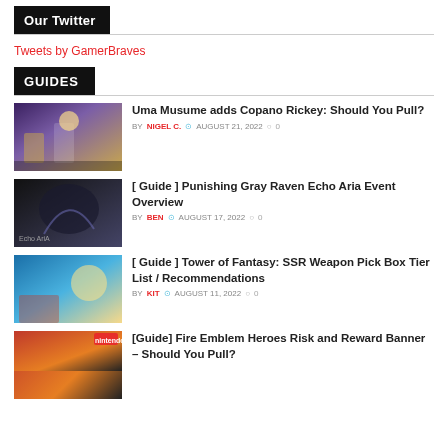Our Twitter
Tweets by GamerBraves
GUIDES
[Figure (photo): Thumbnail image for Uma Musume article]
Uma Musume adds Copano Rickey: Should You Pull?
BY NIGEL C. ⊙ AUGUST 21, 2022 ○ 0
[Figure (photo): Thumbnail image for Punishing Gray Raven Echo Aria Event article]
[ Guide ] Punishing Gray Raven Echo Aria Event Overview
BY BEN ⊙ AUGUST 17, 2022 ○ 0
[Figure (photo): Thumbnail image for Tower of Fantasy SSR Weapon article]
[ Guide ] Tower of Fantasy: SSR Weapon Pick Box Tier List / Recommendations
BY KIT ⊙ AUGUST 11, 2022 ○ 0
[Figure (photo): Thumbnail image for Fire Emblem Heroes article]
[Guide] Fire Emblem Heroes Risk and Reward Banner – Should You Pull?